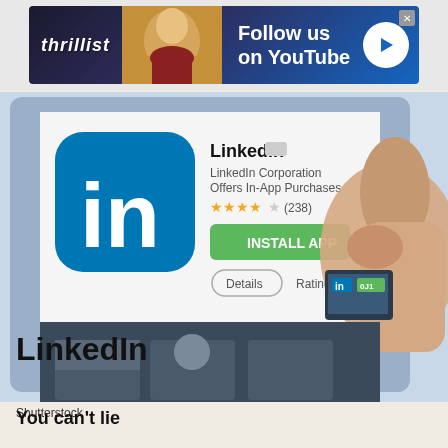[Figure (screenshot): Thrillist advertisement banner with 'Follow us on YouTube' text and play button]
[Figure (photo): Photo of a hand pressing the LinkedIn app install button on a tablet/phone screen showing the LinkedIn app store page with the blue LinkedIn 'in' logo, LinkedIn Corporation listing, star ratings, Install App green button, and Details tab]
Shutterstock
LinkedIn
You can't lie